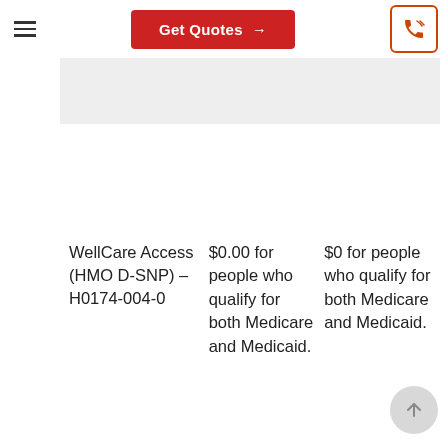Get Quotes →
| Plan | Premium | Drug Deductible |
| --- | --- | --- |
| WellCare Access (HMO D-SNP) – H0174-004-0 | $0.00 for people who qualify for both Medicare and Medicaid. | $0 for people who qualify for both Medicare and Medicaid. |